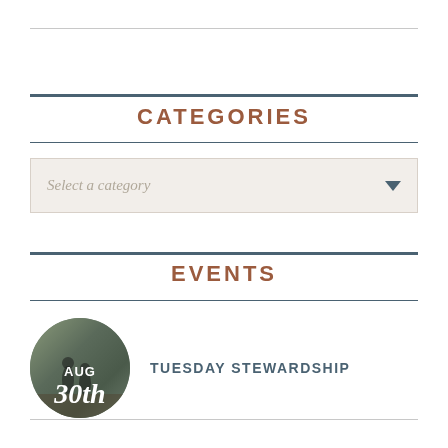CATEGORIES
Select a category
EVENTS
TUESDAY STEWARDSHIP
[Figure (photo): Circular photo showing people on a trail or outdoor path, used as event thumbnail for Tuesday Stewardship event on August 30th]
AUG 30th